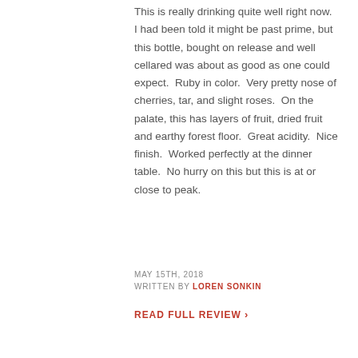This is really drinking quite well right now.  I had been told it might be past prime, but this bottle, bought on release and well cellared was about as good as one could expect.  Ruby in color.  Very pretty nose of cherries, tar, and slight roses.  On the palate, this has layers of fruit, dried fruit and earthy forest floor.  Great acidity.  Nice finish.  Worked perfectly at the dinner table.  No hurry on this but this is at or close to peak.
MAY 15TH, 2018
WRITTEN BY LOREN SONKIN
READ FULL REVIEW